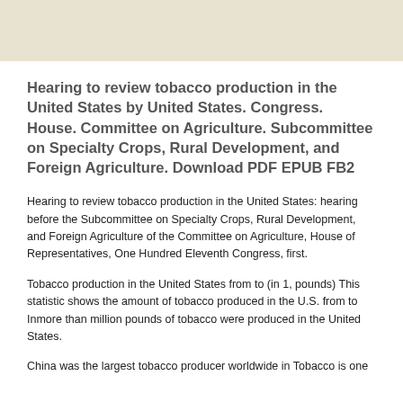Hearing to review tobacco production in the United States by United States. Congress. House. Committee on Agriculture. Subcommittee on Specialty Crops, Rural Development, and Foreign Agriculture. Download PDF EPUB FB2
Hearing to review tobacco production in the United States: hearing before the Subcommittee on Specialty Crops, Rural Development, and Foreign Agriculture of the Committee on Agriculture, House of Representatives, One Hundred Eleventh Congress, first.
Tobacco production in the United States from to (in 1, pounds) This statistic shows the amount of tobacco produced in the U.S. from to Inmore than million pounds of tobacco were produced in the United States.
China was the largest tobacco producer worldwide in Tobacco is one